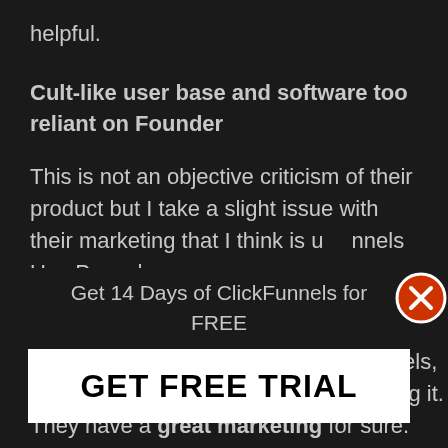helpful.
Cult-like user base and software too reliant on Founder
This is not an objective criticism of their product but I take a slight issue with their marketing that I think is u… nnels Use Paypal.
[Figure (infographic): Popup advertisement overlay: 'Get 14 Days of ClickFunnels for FREE' with a 'GET FREE TRIAL' button and an orange X close button.]
If you get sucked into one of their funnels, it's hard to escape the hype surrounding it. They have a great marketing for sure. However, from a user experience perspective, it can get obtrusive. Once you sign up for the software, you can try to look at the objective features of the software and